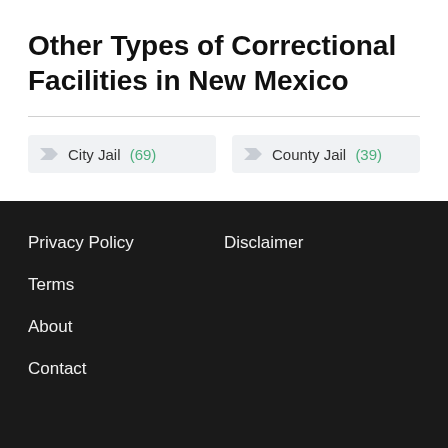Other Types of Correctional Facilities in New Mexico
City Jail (69)
County Jail (39)
Privacy Policy   Disclaimer   Terms   About   Contact